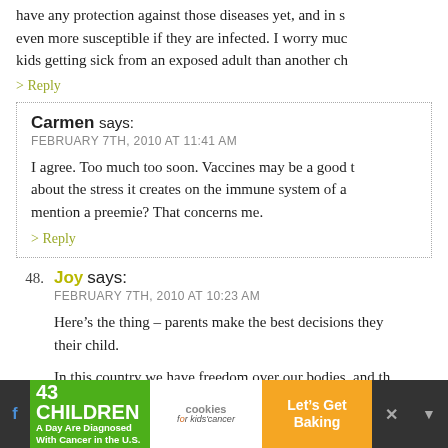have any protection against those diseases yet, and in some ways even more susceptible if they are infected. I worry much more about kids getting sick from an exposed adult than another ch
> Reply
Carmen says:
FEBRUARY 7TH, 2010 AT 11:41 AM

I agree. Too much too soon. Vaccines may be a good t about the stress it creates on the immune system of a mention a preemie? That concerns me.
> Reply
48. Joy says:
FEBRUARY 7TH, 2010 AT 10:23 AM

Here’s the thing – parents make the best decisions they their child.

In this country we have freedom over our bodies, and th cannot be legislated into injecting anything into them
[Figure (infographic): Advertisement banner: green left panel reading '43 CHILDREN A Day Are Diagnosed With Cancer in the U.S.', white middle panel with cookies for kids' cancer logo, orange right panel reading 'Let’s Get Baking', with dark icon panels on sides and an X close button.]